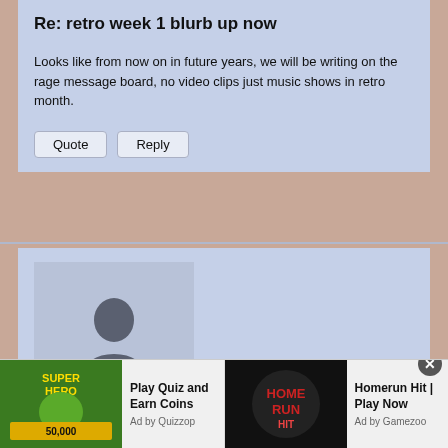Re: retro week 1 blurb up now
Looks like from now on in future years, we will be writing on the rage message board, no video clips just music shows in retro month.
Quote
Reply
[Figure (illustration): Default user avatar silhouette icon on light blue-grey background]
ohnoitisnathan
Re: retro week 1 blurb up now
I hate to be a pessimist, but I wouldn't be that surprised if the rest of the month pans out like this:
[Figure (infographic): Ad banner: Play Quiz and Earn Coins - Ad by Quizzop, and Homerun Hit | Play Now - Ad by Gamezoo]